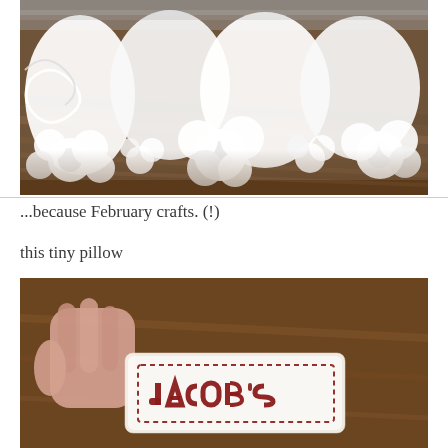[Figure (photo): Close-up photograph of white decorative lace with floral and intricate patterns resting on a wooden surface]
...because February crafts. (!)
this tiny pillow
[Figure (photo): A hand holding a small cross-stitched pillow that reads JACOB'S in dark red letters on white fabric with a red dashed border, against a wooden background]